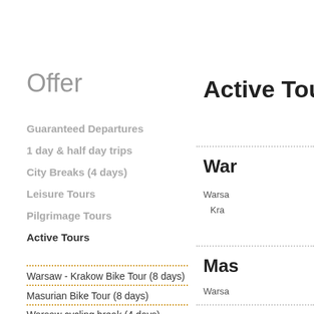Offer
Guaranteed Departures
1 day & half day trips
City Breaks (4 days)
Leisure Tours
Pilgrimage Tours
Active Tours
Warsaw - Krakow Bike Tour (8 days)
Masurian Bike Tour (8 days)
Warsaw cycling break (4 days)
Active Tours
War
Warsa
Kra
Mas
Warsa